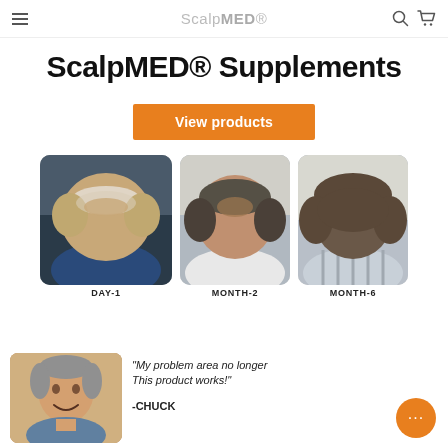ScalpMED
ScalpMED® Supplements
View products
[Figure (photo): Top-down view of man's head showing thinning hair, labeled DAY-1]
DAY-1
[Figure (photo): Top-down view of man's head showing hair regrowth progress, labeled MONTH-2]
MONTH-2
[Figure (photo): Top-down view of man's head showing significant hair regrowth, labeled MONTH-6]
MONTH-6
[Figure (photo): Portrait photo of smiling middle-aged man named Chuck]
"My problem area no longer This product works!" -CHUCK